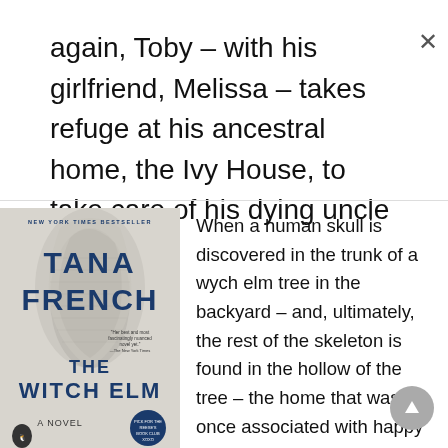again, Toby – with his girlfriend, Melissa – takes refuge at his ancestral home, the Ivy House, to take care of his dying uncle Hugo.
[Figure (photo): Book cover of 'The Witch Elm' by Tana French, New York Times Bestseller, published as a novel by Penguin Books]
When a human skull is discovered in the trunk of a wych elm tree in the backyard – and, ultimately, the rest of the skeleton is found in the hollow of the tree – the home that was once associated with happy